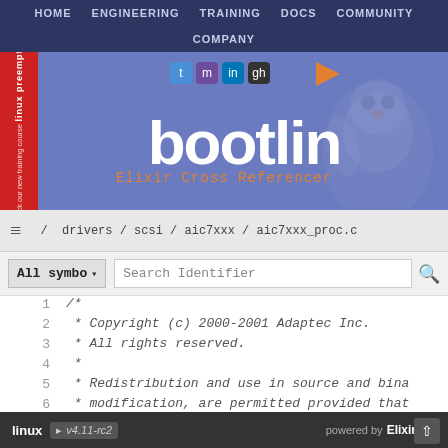HOME  ENGINEERING  TRAINING  DOCS  COMMUNITY  COMPANY
[Figure (logo): Bootlin website header with logo text 'bootlin' in white on blue/purple background, with social media icons and Elixir Cross Referencer subtitle, and a penguin mascot illustration]
/ drivers / scsi / aic7xxx / aic7xxx_proc.c
All symbo ▾  Search Identifier 🔍
1    /*
2     * Copyright (c) 2000-2001 Adaptec Inc.
3     * All rights reserved.
4     *
5     * Redistribution and use in source and bina
6     * modification, are permitted provided that
7     * are met:
8     * 1. Redistribution of
linux  v4.11-rc2    powered by  Elixir 2.1